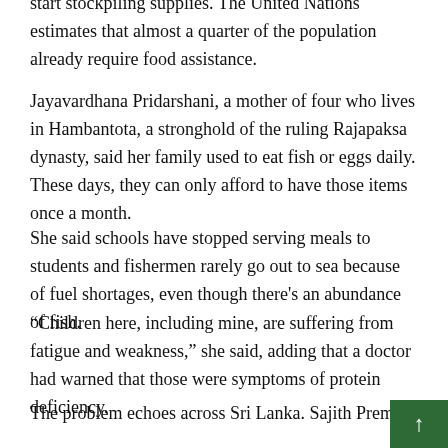over the next few months, prompting people with means to start stockpiling supplies. The United Nations estimates that almost a quarter of the population already require food assistance.
Jayavardhana Pridarshani, a mother of four who lives in Hambantota, a stronghold of the ruling Rajapaksa dynasty, said her family used to eat fish or eggs daily. These days, they can only afford to have those items once a month.
She said schools have stopped serving meals to students and fishermen rarely go out to sea because of fuel shortages, even though there’s an abundance of fish.
“Children here, including mine, are suffering from fatigue and weakness,” she said, adding that a doctor had warned that those were symptoms of protein deficiency.
The problem echoes across Sri Lanka. Sajith Premadasa